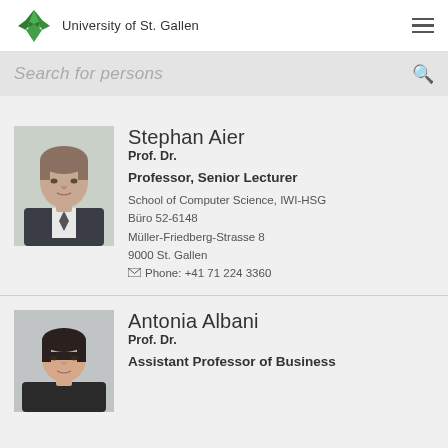University of St. Gallen
Search for persons
[Figure (photo): Portrait photo of Stephan Aier, a middle-aged man in a suit]
Stephan Aier
Prof. Dr.

Professor, Senior Lecturer

School of Computer Science, IWI-HSG
Büro 52-6148
Müller-Friedberg-Strasse 8
9000 St. Gallen
Phone: +41 71 224 3360
[Figure (photo): Portrait photo of Antonia Albani, a woman with short dark hair]
Antonia Albani
Prof. Dr.

Assistant Professor of Business